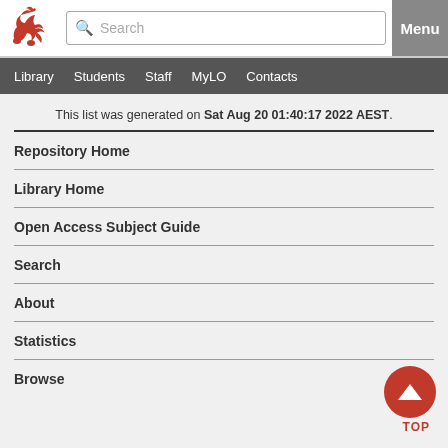[Figure (logo): Red lion heraldic logo of University of Tasmania]
Search | Menu | Library | Students | Staff | MyLO | Contacts
This list was generated on Sat Aug 20 01:40:17 2022 AEST.
Repository Home
Library Home
Open Access Subject Guide
Search
About
Statistics
Browse